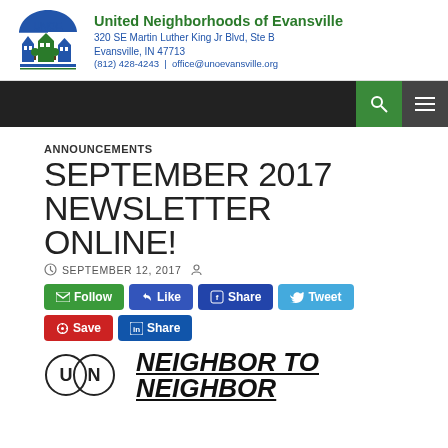United Neighborhoods of Evansville
320 SE Martin Luther King Jr Blvd, Ste B
Evansville, IN 47713
(812) 428-4243 | office@unoevansville.org
ANNOUNCEMENTS
SEPTEMBER 2017 NEWSLETTER ONLINE!
SEPTEMBER 12, 2017
Follow Like Share Tweet Save Share
[Figure (logo): NEIGHBOR TO NEIGHBOR newsletter logo with two overlapping circles containing U and N]